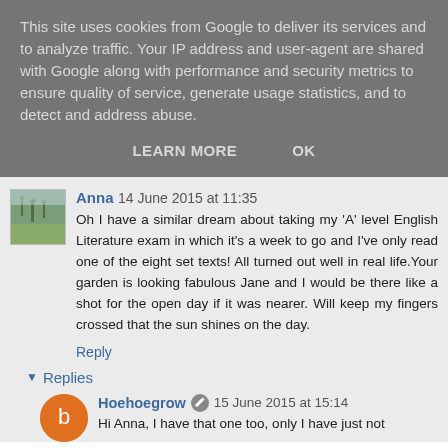This site uses cookies from Google to deliver its services and to analyze traffic. Your IP address and user-agent are shared with Google along with performance and security metrics to ensure quality of service, generate usage statistics, and to detect and address abuse.
LEARN MORE   OK
Anna 14 June 2015 at 11:35
Oh I have a similar dream about taking my 'A' level English Literature exam in which it's a week to go and I've only read one of the eight set texts! All turned out well in real life.Your garden is looking fabulous Jane and I would be there like a shot for the open day if it was nearer. Will keep my fingers crossed that the sun shines on the day.
Reply
Replies
Hoehoegrow 15 June 2015 at 15:14
Hi Anna, I have that one too, only I have just not